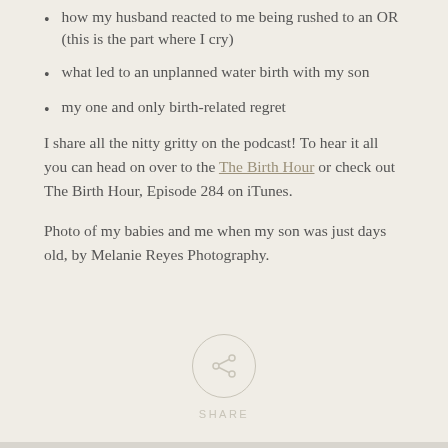how my husband reacted to me being rushed to an OR (this is the part where I cry)
what led to an unplanned water birth with my son
my one and only birth-related regret
I share all the nitty gritty on the podcast! To hear it all you can head on over to the The Birth Hour or check out The Birth Hour, Episode 284 on iTunes.
Photo of my babies and me when my son was just days old, by Melanie Reyes Photography.
[Figure (illustration): A circular share button icon with a share/network symbol inside, and the word SHARE below it in spaced uppercase letters.]